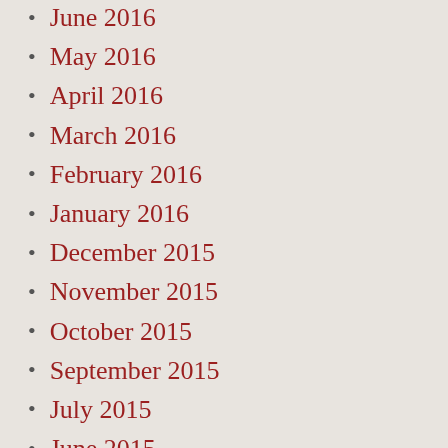June 2016
May 2016
April 2016
March 2016
February 2016
January 2016
December 2015
November 2015
October 2015
September 2015
July 2015
June 2015
May 2015
April 2015
March 2015
February 2015
January 2015